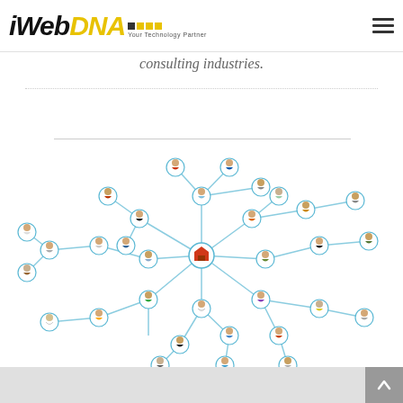iWebDNA — Your Technology Partner
consulting industries.
[Figure (illustration): Network diagram showing multiple colorful 3D figurines connected by blue lines with a red house/building icon in the center, representing a social or business network.]